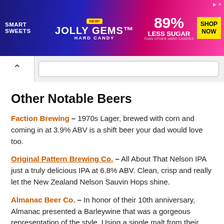[Figure (photo): Smart Sweets Jolly Gems Hard Candy advertisement banner. Blue/pink gradient background. Shows '89% Less Sugar than other hard candies' and 'Shop Now' button.]
Other Notable Beers
Faction Brewing – 1970s Lager, brewed with corn and coming in at 3.9% ABV is a shift beer your dad would love too.
Original Pattern Brewing Co. – All About That Nelson IPA just a truly delicious IPA at 6.8% ABV. Clean, crisp and really let the New Zealand Nelson Sauvin Hops shine.
Almanac Beer Co. – In honor of their 10th anniversary, Almanac presented a Barleywine that was a gorgeous representation of the style. Using a single malt from their neighbor Admiral Maltings and aged in whisky barrels from their nearby neighbor, St. George Spirits. This beer was a labor of love, and it shows.